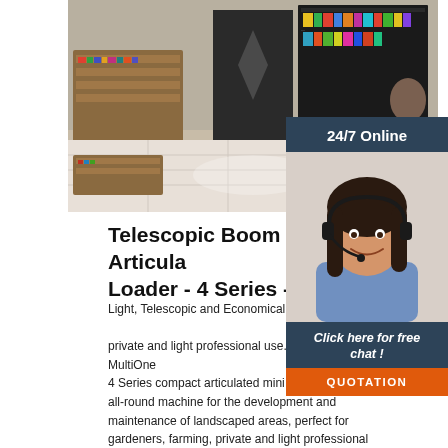[Figure (photo): Interior of a retail store with wooden shelving units displaying books and products, marble tile floor, bright lighting]
[Figure (photo): 24/7 Online customer service sidebar with a smiling female agent wearing a headset, dark navy background, 'Click here for free chat!' text and orange QUOTATION button]
Telescopic Boom Mini Articulated Loader - 4 Series - Multione
Light, Telescopic and Economical. The Mini Loader is ideal for private and light professional use. Diesel, 20 hp. MultiOne 4 Series compact articulated mini loader is a superb all-round machine for the development and maintenance of landscaped areas, perfect for gardeners, farming, private and light professional use.. 4 Series Plus: Telescopic boom